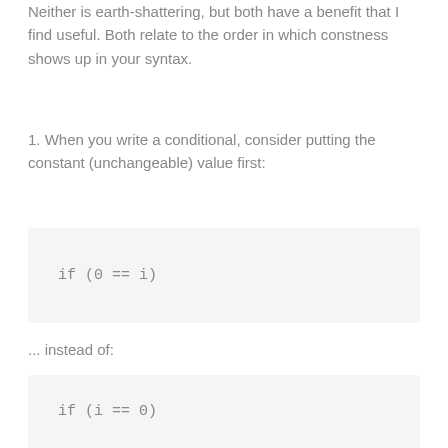Neither is earth-shattering, but both have a benefit that I find useful. Both relate to the order in which constness shows up in your syntax.
1. When you write a conditional, consider putting the constant (unchangeable) value first:
... instead of: